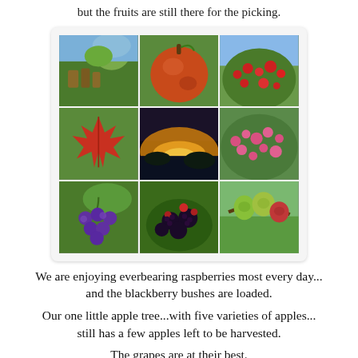but the fruits are still there for the picking.
[Figure (photo): 3x3 grid of nature/fruit photos: vineyard landscape, close-up apple, red berry bushes, red maple leaf, sunset over mountains, pink flowering shrubs, purple grapes, blackberries, small green/red apples on branch]
We are enjoying everbearing raspberries most every day... and the blackberry bushes are loaded.
Our one little apple tree...with five varieties of apples... still has a few apples left to be harvested.
The grapes are at their best.
The fall season has arrived...